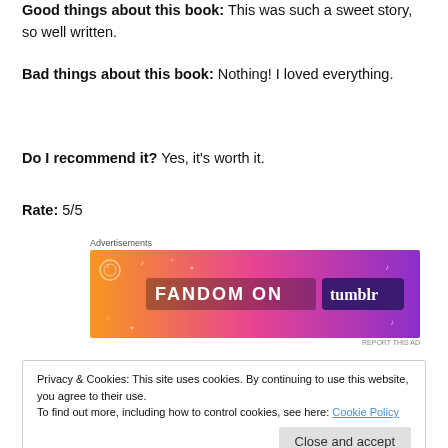Good things about this book: This was such a sweet story, so well written.
Bad things about this book: Nothing! I loved everything.
Do I recommend it? Yes, it's worth it.
Rate: 5/5
[Figure (other): Fandom on Tumblr advertisement banner with orange-to-purple gradient background and doodle illustrations]
Privacy & Cookies: This site uses cookies. By continuing to use this website, you agree to their use.
To find out more, including how to control cookies, see here: Cookie Policy